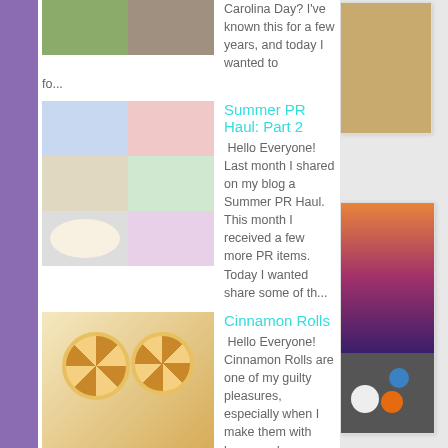Carolina Day? I've known this for a few years, and today I wanted to fo...
Summer PR Haul: Part 2
Hello Everyone! Last month I shared on my blog a Summer PR Haul. This month I received a few more PR items. Today I wanted share some of th...
Cinnamon Rolls
Hello Everyone! Cinnamon Rolls are one of my guilty pleasures, especially when I make them with homemade cream cheese frosting. Cream chees...
Surviving Domestic Violence
Hello Everyone, October is Domestic Violence Awareness Month All the name calling and put downs...All the I'm sorrys and I...
Hydrated Skin: Body Edition
Hello Everyone! Last month th...